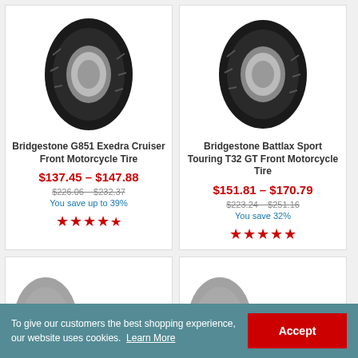[Figure (photo): Bridgestone G851 Exedra Cruiser Front Motorcycle Tire product image showing a black motorcycle tire viewed straight-on]
Bridgestone G851 Exedra Cruiser Front Motorcycle Tire
$137.45 – $147.88
$226.06   $232.37
You save up to 39%
★★★★½
[Figure (photo): Bridgestone Battlax Sport Touring T32 GT Front Motorcycle Tire product image showing a black motorcycle tire viewed straight-on]
Bridgestone Battlax Sport Touring T32 GT Front Motorcycle Tire
$151.81 – $170.79
$223.24   $251.16
You save 32%
★★★★★
To give our customers the best shopping experience, our website uses cookies. Learn More
Accept